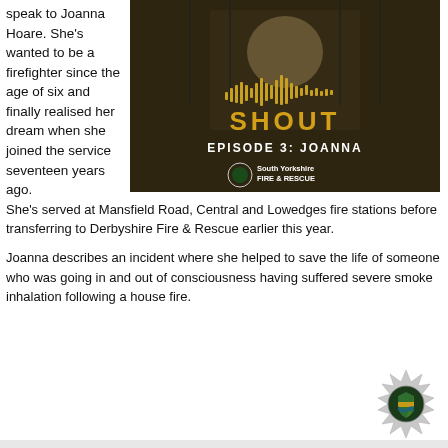speak to Joanna Hoare. She's wanted to be a firefighter since the age of six and finally realised her dream when she joined the service seventeen years ago.
[Figure (photo): Podcast cover image for 'SHOUT Episode 3: Joanna' from South Yorkshire Fire & Rescue. A woman in dark clothing stands in front of lockers. The image has a dark sepia/golden tone. Text shows sound wave bars above the word SHOUT in gold, then EPISODE 3: JOANNA in white, with the South Yorkshire Fire & Rescue badge and text.]
She's served at Mansfield Road, Central and Lowedges fire stations before transferring to Derbyshire Fire & Rescue earlier this year.
Joanna describes an incident where she helped to save the life of someone who was going in and out of consciousness having suffered severe smoke inhalation following a house fire.
[Figure (logo): South Yorkshire Fire & Rescue badge/logo — a silver starburst badge with green and yellow shield emblem in the centre.]